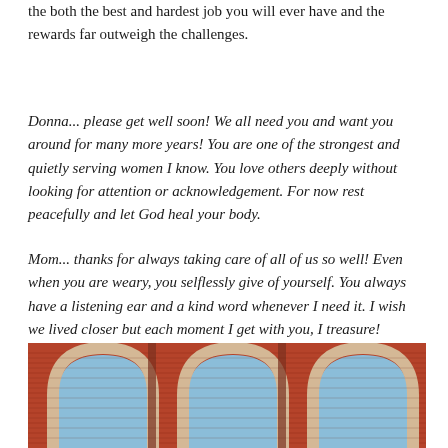the both the best and hardest job you will ever have and the rewards far outweigh the challenges.
Donna... please get well soon! We all need you and want you around for many more years! You are one of the strongest and quietly serving women I know. You love others deeply without looking for attention or acknowledgement. For now rest peacefully and let God heal your body.
Mom... thanks for always taking care of all of us so well! Even when you are weary, you selflessly give of yourself. You always have a listening ear and a kind word whenever I need it. I wish we lived closer but each moment I get with you, I treasure!
[Figure (photo): Exterior brick building facade with three large arched windows/doorways. The arches are trimmed in tan/beige stone against red brick. Blue glass or panels are visible through the arches.]